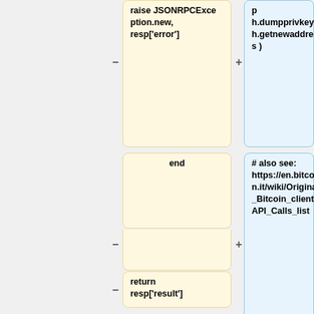[Figure (other): Diff/comparison view showing two columns of code blocks. Left column (yellow) shows Ruby/code snippets: 'raise JSONRPCException.new, resp[\'error\']', 'end', 'return resp[\'result\']', 'end', 'end', '</source>', blank, '== PHP =='. Right column (blue) shows: 'p h.dumpprivkey( h.getnewaddress )', '# also see: https://en.bitcoin.it/wiki/Original_Bitcoin_client/API_Calls_list', 'end', '</source>', blank, '=== Erlang ===', 'Get the rebar'. Minus/plus diff markers visible on left side of each row.]